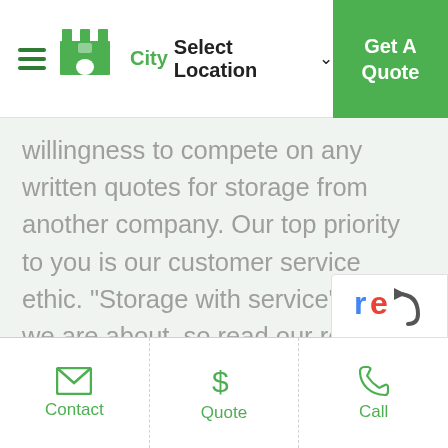City Select Location — Get A Quote
willingness to compete on any written quotes for storage from another company. Our top priority to you is our customer service ethic. "Storage with service" is what we are about, so read our reviews and get in contact to experience the same. Take you pick from the storage locations listed to call or request your personalised quote today.
Contact | Quote | Call